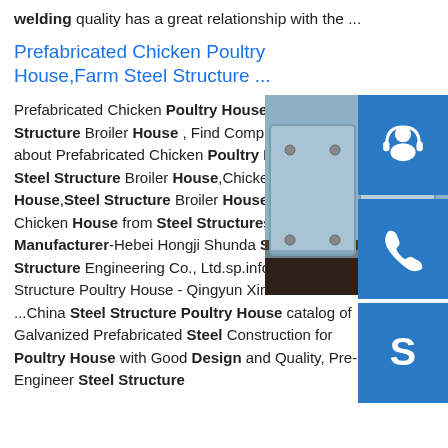welding quality has a great relationship with the ...
Prefabricated Chicken Poultry House,Farm Steel Structure ...
[Figure (photo): Close-up photo of steel structure with bolts and blue/grey metal panels]
[Figure (illustration): Sidebar with three blue buttons: headset/customer service icon, phone icon, and Skype icon]
Prefabricated Chicken Poultry House,Farm Steel Structure Broiler House , Find Complete Details about Prefabricated Chicken Poultry House,Farm Steel Structure Broiler House,Chicken Poultry House,Steel Structure Broiler House,Prefabricated Chicken House from Steel Structures Supplier or Manufacturer-Hebei Hongji Shunda Steel Structure Engineering Co., Ltd.sp.info Steel Structure Poultry House - Qingyun Xinmao Steel ...China Steel Structure Poultry House catalog of Galvanized Prefabricated Steel Construction for Poultry House with Good Design and Quality, Pre-Engineer Steel Structure